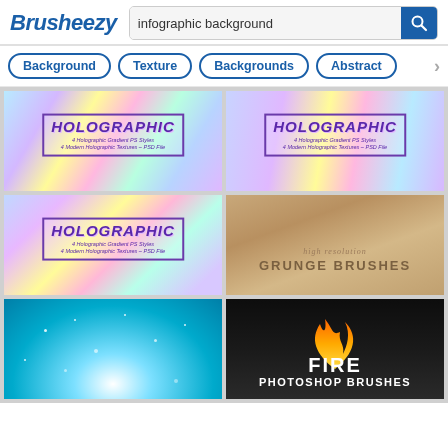Brusheezy — infographic background [search results]
[Figure (screenshot): Brusheezy logo and search bar with query 'infographic background' and filter tabs: Background, Texture, Backgrounds, Abstract]
[Figure (photo): Holographic gradient background with label 'HOLOGRAPHIC — 4 Holographic Gradient PS Styles, 4 Modern Holographic Textures – PSD File']
[Figure (photo): Holographic gradient background with label 'HOLOGRAPHIC — 4 Holographic Gradient PS Styles, 4 Modern Holographic Textures – PSD File']
[Figure (photo): Holographic swirl background with label 'HOLOGRAPHIC — 4 Holographic Gradient PS Styles, 4 Modern Holographic Textures – PSD File']
[Figure (photo): Grunge paper texture with text 'high resolution GRUNGE BRUSHES']
[Figure (photo): Blue sparkle background with light bokeh]
[Figure (photo): Fire with black background and text 'FIRE PHOTOSHOP BRUSHES']